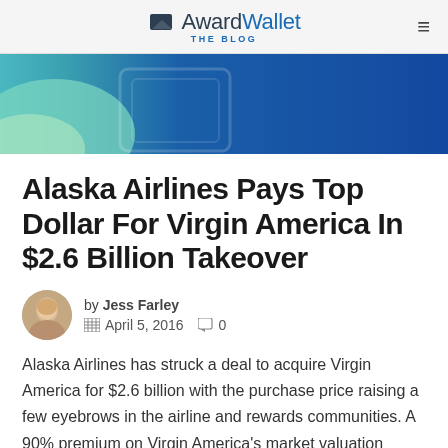AwardWallet THE BLOG
[Figure (photo): Partial view of an airplane fuselage in blue and teal/green colors, close-up shot]
Alaska Airlines Pays Top Dollar For Virgin America In $2.6 Billion Takeover
by Jess Farley  April 5, 2016  0
Alaska Airlines has struck a deal to acquire Virgin America for $2.6 billion with the purchase price raising a few eyebrows in the airline and rewards communities. A 90% premium on Virgin America's market valuation before takeover speculation began